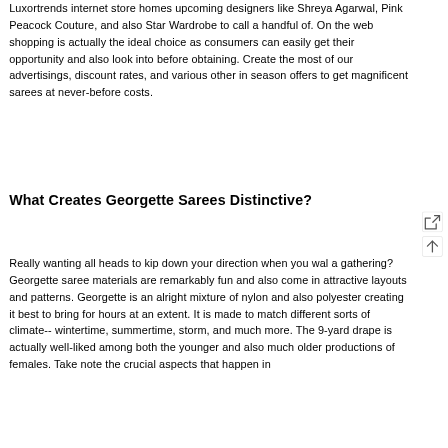Luxortrends internet store homes upcoming designers like Shreya Agarwal, Pink Peacock Couture, and also Star Wardrobe to call a handful of. On the web shopping is actually the ideal choice as consumers can easily get their opportunity and also look into before obtaining. Create the most of our advertisings, discount rates, and various other in season offers to get magnificent sarees at never-before costs.
What Creates Georgette Sarees Distinctive?
Really wanting all heads to kip down your direction when you walk a gathering? Georgette saree materials are remarkably fun and also come in attractive layouts and patterns. Georgette is an alright mixture of nylon and also polyester creating it best to bring for hours at an extent. It is made to match different sorts of climate-- wintertime, summertime, storm, and much more. The 9-yard drape is actually well-liked among both the younger and also much older productions of females. Take note the crucial aspects that happen in